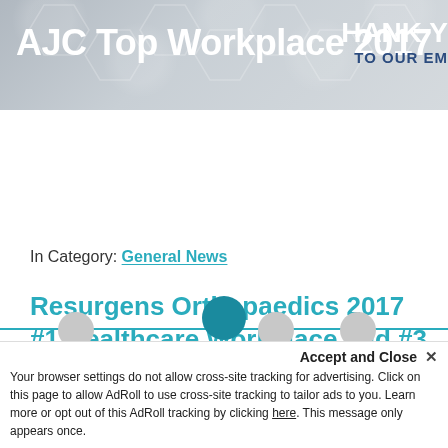[Figure (infographic): Header banner with hexagonal pattern background showing 'AJC Top Workplace 2017' in white bold text and partially visible 'THANK Y... TO OUR EM...' text on the right side]
Tuesday March 28, 2017
In Category: General News
Resurgens Orthopaedics 2017 #1 Healthcare Workplace and #3 Top Workplace of Large Employers in Metro Atlanta!
Accept and Close ×
Your browser settings do not allow cross-site tracking for advertising. Click on this page to allow AdRoll to use cross-site tracking to tailor ads to you. Learn more or opt out of this AdRoll tracking by clicking here. This message only appears once.